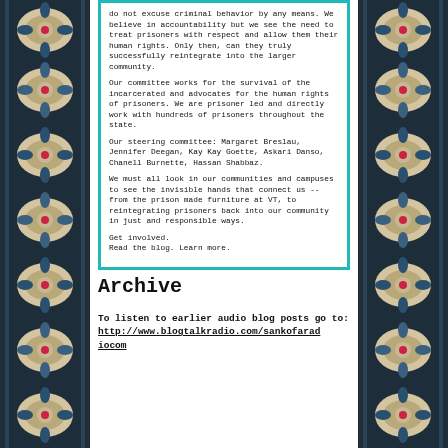[Figure (illustration): Decorative fabric/rug pattern panel on the left side with ikat-style motifs in dark blue, cream, red/pink floral and geometric patterns]
do not excuse criminal behavior by any means.  We believe in accountability but we see the need to treat prisoners with respect and allow them their human rights.  Only then, can they truly successfully reintegrate into the larger community.
Our committee works for the survival of the incarcerated and advocates for the human rights of prisoners. We are prisoner led and directly work with hundreds of prisoners throughout the state.

Our steering committee:  Margaret Breslau, Jennifer Deegan, Kay Kay Goette, Askari Danso, Chanell Burnette, Hassan Shabbaz.

We must all look in our communities and campuses to see the invisible hands that connect us -- from the prison made furniture at VT, to reintegrating prisoners back into our community in just and responsible ways.

Get involved.
Read the blog. Learn more.
Archive
To listen to earlier audio blog posts go to: http://www.blogtalkradio.com/sankofaradiocom
[Figure (illustration): Decorative fabric/rug pattern panel on the right side with ikat-style motifs in dark blue, cream, red/pink floral and geometric patterns]